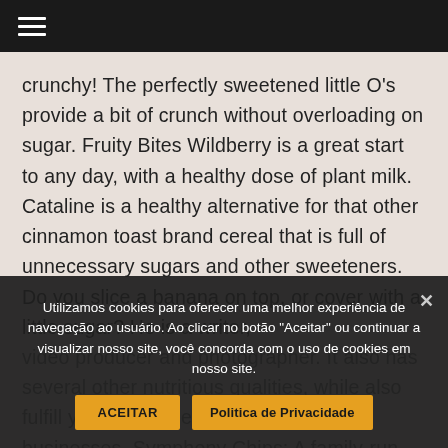☰
crunchy! The perfectly sweetened little O's provide a bit of crunch without overloading on sugar. Fruity Bites Wildberry is a great start to any day, with a healthy dose of plant milk. Cataline is a healthy alternative for that other cinnamon toast brand cereal that is full of unnecessary sugars and other sweeteners. Do you slice a banana on top, or cover with a little sugar? He is a writer, video producer and photographer. It also has several other nutritious qualities, while also fulfill your daily needs. Black vegan businesses. Symphony Chips: A family-run business selling gourmet p... ...rvive
Utilizamos cookies para oferecer uma melhor experiência de navegação ao usuário. Ao clicar no botão "Aceitar" ou continuar a visualizar nosso site, você concorda com o uso de cookies em nosso site.
ACEITAR
Politica de Privacidade